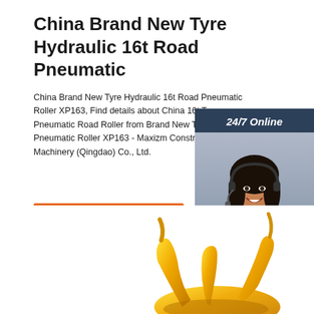China Brand New Tyre Hydraulic 16t Road Pneumatic
China Brand New Tyre Hydraulic 16t Road Pneumatic Roller XP163, Find details about China 16t Tyre Pneumatic Road Roller from Brand New Tyre 16t Road Pneumatic Roller XP163 - Maxizm Construction Machinery (Qingdao) Co., Ltd.
[Figure (photo): Customer service representative woman with headset, with 24/7 Online label and chat widget with QUOTATION button]
[Figure (photo): Bottom portion of a yellow mechanical/industrial component, partially visible at the bottom of the page]